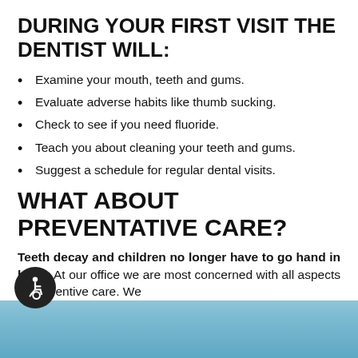DURING YOUR FIRST VISIT THE DENTIST WILL:
Examine your mouth, teeth and gums.
Evaluate adverse habits like thumb sucking.
Check to see if you need fluoride.
Teach you about cleaning your teeth and gums.
Suggest a schedule for regular dental visits.
WHAT ABOUT PREVENTATIVE CARE?
Teeth decay and children no longer have to go hand in hand. At our office we are most concerned with all aspects of preventive care. We